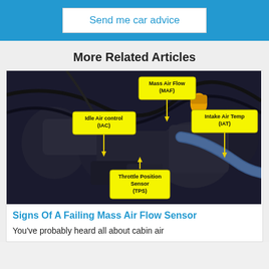Send me car advice
More Related Articles
[Figure (photo): Engine bay photo with labeled components: Mass Air Flow (MAF), Idle Air control (IAC), Intake Air Temp (IAT), Throttle Position Sensor (TPS), with yellow callout boxes and arrows pointing to each sensor.]
Signs Of A Failing Mass Air Flow Sensor
You've probably heard all about cabin air